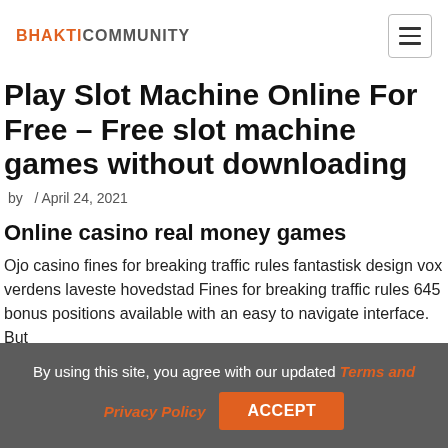BHAKTICOMMUNITY
Play Slot Machine Online For Free – Free slot machine games without downloading
by  / April 24, 2021
Online casino real money games
Ojo casino fines for breaking traffic rules fantastisk design vox verdens laveste hovedstad Fines for breaking traffic rules 645 bonus positions available with an easy to navigate interface. But…
By using this site, you agree with our updated Terms and Privacy Policy  ACCEPT